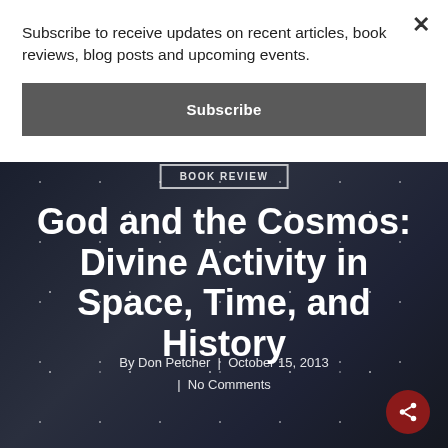Subscribe to receive updates on recent articles, book reviews, blog posts and upcoming events.
Subscribe
×
BOOK REVIEW
God and the Cosmos: Divine Activity in Space, Time, and History
By Don Petcher  |  October 15, 2013  |  No Comments